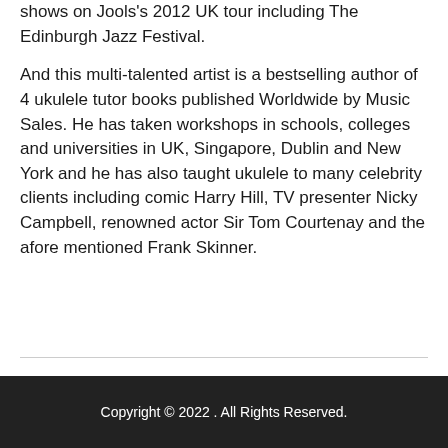shows on Jools's 2012 UK tour including The Edinburgh Jazz Festival.
And this multi-talented artist is a bestselling author of 4 ukulele tutor books published Worldwide by Music Sales. He has taken workshops in schools, colleges and universities in UK, Singapore, Dublin and New York and he has also taught ukulele to many celebrity clients including comic Harry Hill, TV presenter Nicky Campbell, renowned actor Sir Tom Courtenay and the afore mentioned Frank Skinner.
Copyright © 2022 . All Rights Reserved.